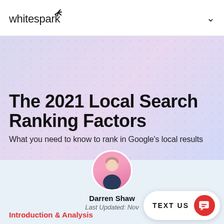whitespark
[Figure (illustration): Whitespark logo with spark/rays icon above text]
The 2021 Local Search Ranking Factors
What you need to know to rank in Google's local results
[Figure (photo): Circular headshot photo of Darren Shaw with pink background]
Darren Shaw
Last Updated: Nov
Introduction & Analysis
TEXT US